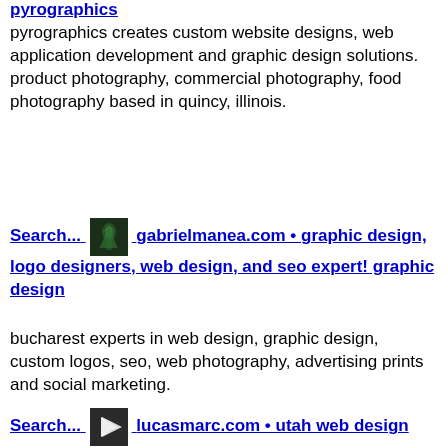pyrographics
pyrographics creates custom website designs, web application development and graphic design solutions. product photography, commercial photography, food photography based in quincy, illinois.
Search... gabrielmanea.com • graphic design, logo designers, web design, and seo expert! graphic design
bucharest experts in web design, graphic design, custom logos, seo, web photography, advertising prints and social marketing.
Search... lucasmarc.com • utah web design logo